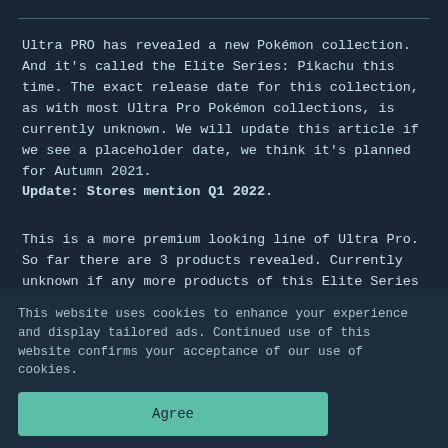Ultra PRO has revealed a new Pokémon collection. And it's called the Elite Series: Pikachu this time. The exact release date for this collection, as with most Ultra Pro Pokémon collections, is currently unknown. We will update this article if we see a placeholder date, we think it's planned for Autumn 2021. Update: Stores mention Q1 2022.
This is a more premium looking line of Ultra Pro. So far there are 3 products revealed. Currently unknown if any more products of this Elite Series line will come in the future.
This website uses cookies to enhance your experience and display tailored ads. Continued use of this website confirms your acceptance of our use of cookies.
Agree